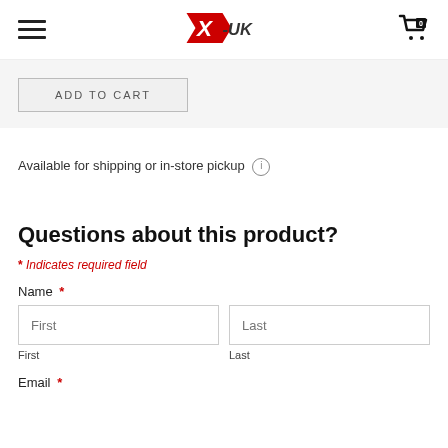X-UK (logo), hamburger menu, cart icon with 0
ADD TO CART
Available for shipping or in-store pickup
Questions about this product?
* Indicates required field
Name *
First
Last
Email *